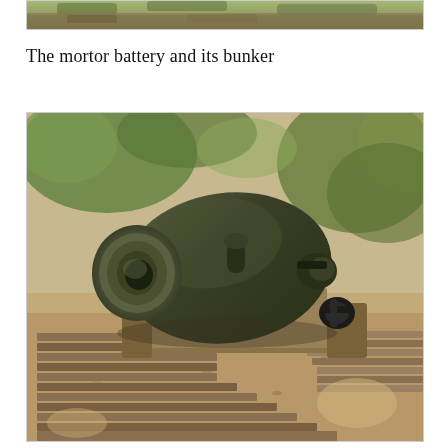[Figure (photo): Top portion of a photo showing a wooded path or trail with trees and vegetation, partially cropped at the top of the page.]
The mortor battery and its bunker
[Figure (photo): A large dark green/black historical mortar cannon mounted on a wooden platform with planks. The mortar is short and wide-barreled, angled slightly, set on a wooden carriage. Background shows sandy ground with dry leaves and green shrubs/trees. The setting appears to be an outdoor historical site or fort.]